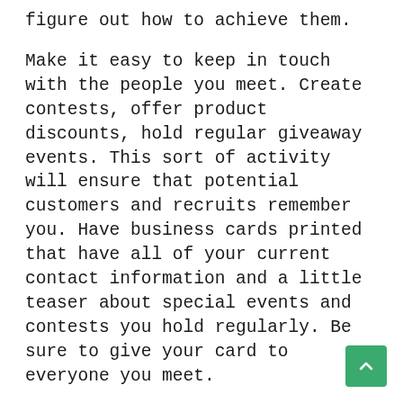figure out how to achieve them.
Make it easy to keep in touch with the people you meet. Create contests, offer product discounts, hold regular giveaway events. This sort of activity will ensure that potential customers and recruits remember you. Have business cards printed that have all of your current contact information and a little teaser about special events and contests you hold regularly. Be sure to give your card to everyone you meet.
Don't try and force anyone into joining your MLM opportunity. You may love what you do, but multi-level marketing is not for everyone. For some people they just aren't comfortable with it. If you've got close